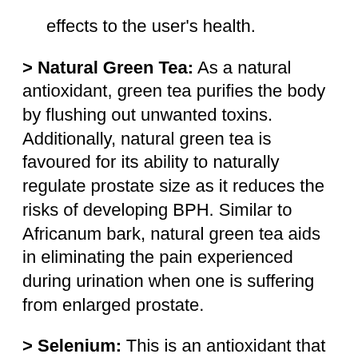effects to the user's health.
> Natural Green Tea: As a natural antioxidant, green tea purifies the body by flushing out unwanted toxins. Additionally, natural green tea is favoured for its ability to naturally regulate prostate size as it reduces the risks of developing BPH. Similar to Africanum bark, natural green tea aids in eliminating the pain experienced during urination when one is suffering from enlarged prostate.
> Selenium: This is an antioxidant that can increase your metabolism and thyroid function